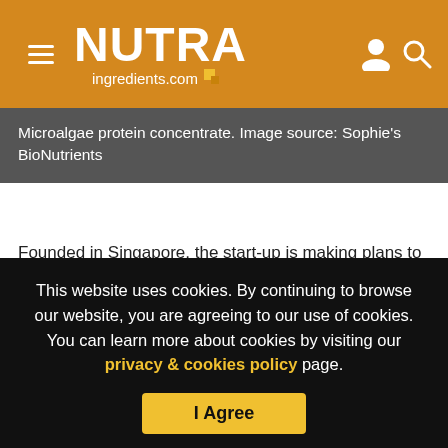NUTRAingredients.com
Microalgae protein concentrate. Image source: Sophie's BioNutrients
Founded in Singapore, the start-up is making plans to move ‘a lot’ of its operations to Europe, revealed the CEO: “My guys are planning to relocate from Singapore to Amsterdam at the moment.”
Wang continued: “Quite frankly, we see the future of alternative
This website uses cookies. By continuing to browse our website, you are agreeing to our use of cookies. You can learn more about cookies by visiting our privacy & cookies policy page.
I Agree